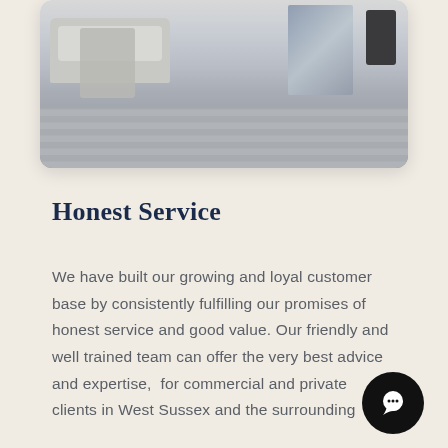[Figure (photo): Interior room photo showing a light grey sofa with a patterned blanket/throw, wooden flooring, artwork on the wall, and a dark chair on the right side.]
Honest Service
We have built our growing and loyal customer base by consistently fulfilling our promises of honest service and good value. Our friendly and well trained team can offer the very best advice and expertise,  for commercial and private clients in West Sussex and the surrounding